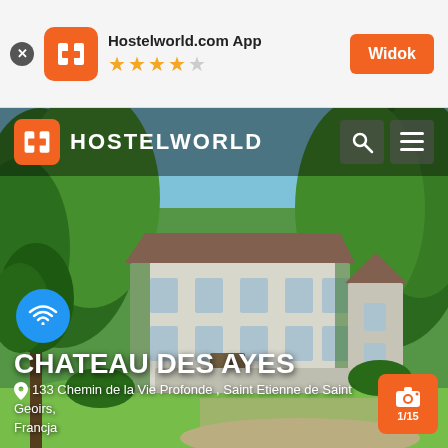Hostelworld.com App ★★★★☆ Widok
[Figure (screenshot): Hostelworld mobile app screenshot showing Chateau des Ayes hostel. Main image shows a French château/manor house surrounded by lush green trees. Hostelworld navigation bar at top with orange logo and white HOSTELWORLD text. Search and hamburger menu icons top right. WiFi badge bottom left. Hotel name CHATEAU DES AYES in large white bold text. Address: 133 Chemin de la Vie Profonde, Saint Etienne de Saint Geoirs, Francja. Camera icon with 1/15 badge bottom right.]
CHATEAU DES AYES — 133 Chemin de la Vie Profonde , Saint Etienne de Saint Geoirs, Francja — 1/15